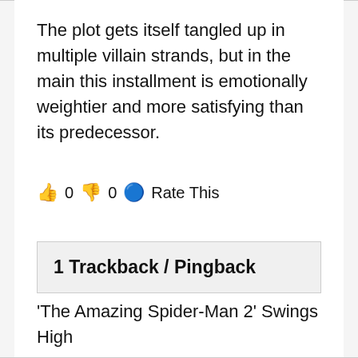The plot gets itself tangled up in multiple villain strands, but in the main this installment is emotionally weightier and more satisfying than its predecessor.
👍 0 👎 0 🔵 Rate This
1 Trackback / Pingback
'The Amazing Spider-Man 2' Swings High

With $92 Million Domestically | YouNerded